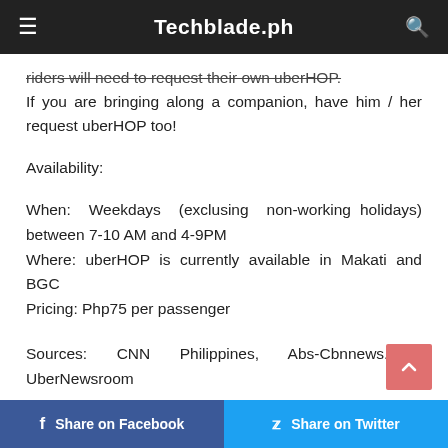Techblade.ph
riders will need to request their own uberHOP. If you are bringing along a companion, have him / her request uberHOP too!
Availability:
When: Weekdays (exclusing non-working holidays) between 7-10 AM and 4-9PM
Where: uberHOP is currently available in Makati and BGC
Pricing: Php75 per passenger
Sources: CNN Philippines, Abs-Cbnnews.com, UberNewsroom